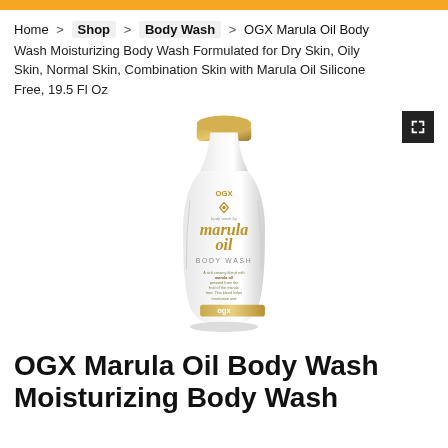Home > Shop > Body Wash > OGX Marula Oil Body Wash Moisturizing Body Wash Formulated for Dry Skin, Oily Skin, Normal Skin, Combination Skin with Marula Oil Silicone Free, 19.5 Fl Oz
[Figure (photo): OGX Marula Oil Body Wash bottle — white bottle with gold cap, featuring marula oil branding and body wash label text]
OGX Marula Oil Body Wash Moisturizing Body Wash